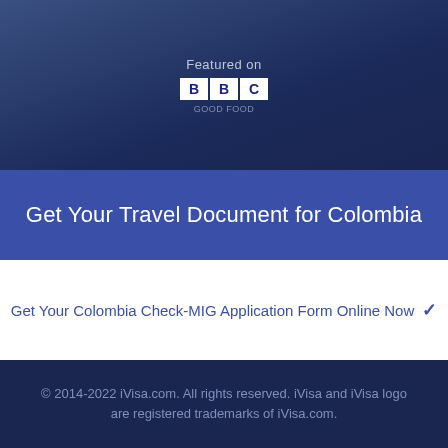[Figure (logo): BBC logo with 'Featured on' text above it, displayed on dark navy gradient background]
Get Your Travel Document for Colombia
Get Your Colombia Check-MIG Application Form Online Now
© 2014-2022 iVisa.com. All rights reserved. iVisa and iVisa logo are registered trademarks of iVisa.com.